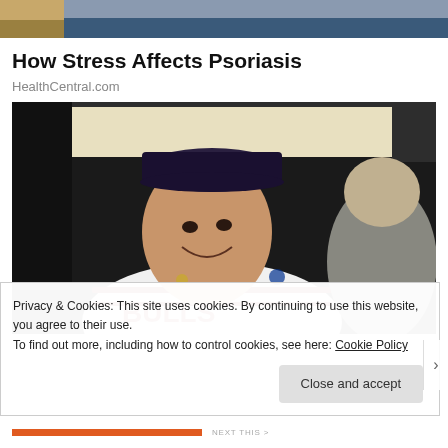[Figure (photo): Partial top photo showing yellow/blue background, cropped at top of page]
How Stress Affects Psoriasis
HealthCentral.com
[Figure (photo): Photo of a smiling man wearing a Chicago Bulls basketball jersey and a backwards cap, indoors with dark background. Another person is partially visible on the right.]
Privacy & Cookies: This site uses cookies. By continuing to use this website, you agree to their use.
To find out more, including how to control cookies, see here: Cookie Policy
Close and accept